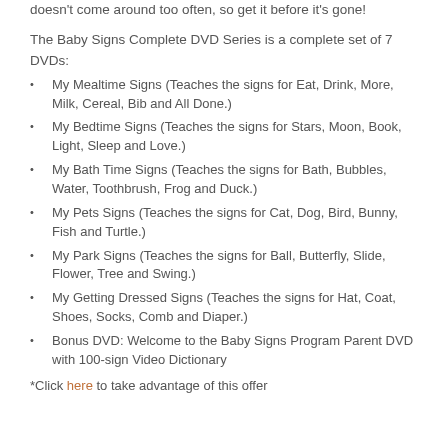doesn't come around too often, so get it before it's gone!
The Baby Signs Complete DVD Series is a complete set of 7 DVDs:
My Mealtime Signs (Teaches the signs for Eat, Drink, More, Milk, Cereal, Bib and All Done.)
My Bedtime Signs (Teaches the signs for Stars, Moon, Book, Light, Sleep and Love.)
My Bath Time Signs (Teaches the signs for Bath, Bubbles, Water, Toothbrush, Frog and Duck.)
My Pets Signs (Teaches the signs for Cat, Dog, Bird, Bunny, Fish and Turtle.)
My Park Signs (Teaches the signs for Ball, Butterfly, Slide, Flower, Tree and Swing.)
My Getting Dressed Signs (Teaches the signs for Hat, Coat, Shoes, Socks, Comb and Diaper.)
Bonus DVD: Welcome to the Baby Signs Program Parent DVD with 100-sign Video Dictionary
*Click here to take advantage of this offer